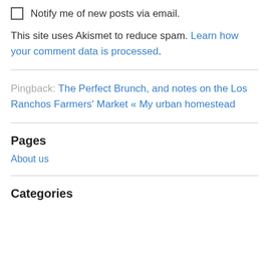Notify me of new posts via email.
This site uses Akismet to reduce spam. Learn how your comment data is processed.
Pingback: The Perfect Brunch, and notes on the Los Ranchos Farmers' Market « My urban homestead
Pages
About us
Categories